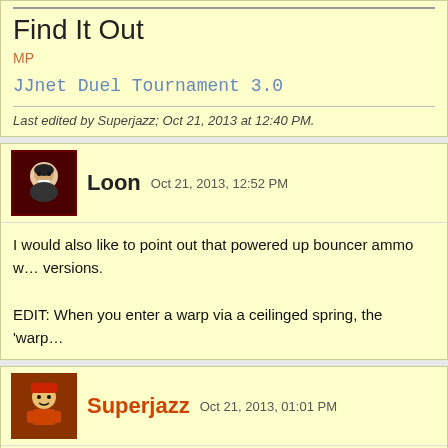Find It Out
MP
JJnet Duel Tournament 3.0
Last edited by Superjazz; Oct 21, 2013 at 12:40 PM.
Loon  Oct 21, 2013, 12:52 PM
I would also like to point out that powered up bouncer ammo w… versions.

EDIT: When you enter a warp via a ceilinged spring, the 'warp…
Superjazz  Oct 21, 2013, 01:01 PM
Quote:
Originally Posted by Loon
I would also like to point out that powered up bouncer am…